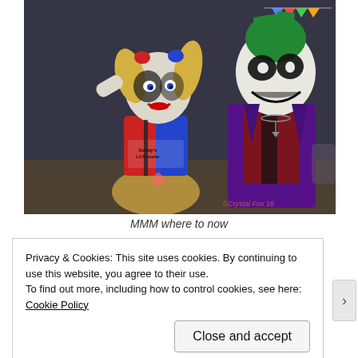[Figure (illustration): 3D rendered illustration of Harley Quinn and the Joker characters. Harley Quinn is on the left wearing a red and blue costume with 'Daddy's Lil Monster' text on her shirt, with blonde pigtails. The Joker is on the right in a purple suit with white face paint. Dark background. Watermark reads 'Crystal Fox 18'.]
MMM where to now
Privacy & Cookies: This site uses cookies. By continuing to use this website, you agree to their use.
To find out more, including how to control cookies, see here: Cookie Policy